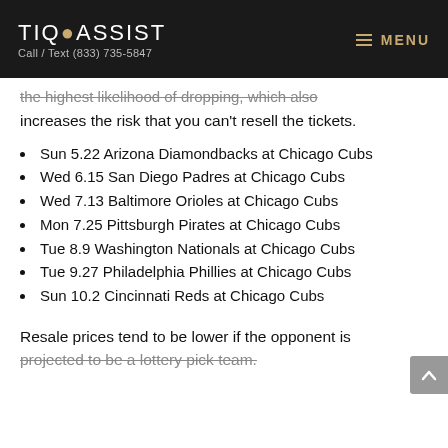TIQASSIST Call / Text (833) 735-5847 MENU
the highest likelihood of dropping, which also increases the risk that you can't resell the tickets.
Sun 5.22 Arizona Diamondbacks at Chicago Cubs
Wed 6.15 San Diego Padres at Chicago Cubs
Wed 7.13 Baltimore Orioles at Chicago Cubs
Mon 7.25 Pittsburgh Pirates at Chicago Cubs
Tue 8.9 Washington Nationals at Chicago Cubs
Tue 9.27 Philadelphia Phillies at Chicago Cubs
Sun 10.2 Cincinnati Reds at Chicago Cubs
Resale prices tend to be lower if the opponent is projected to be a lottery pick team.